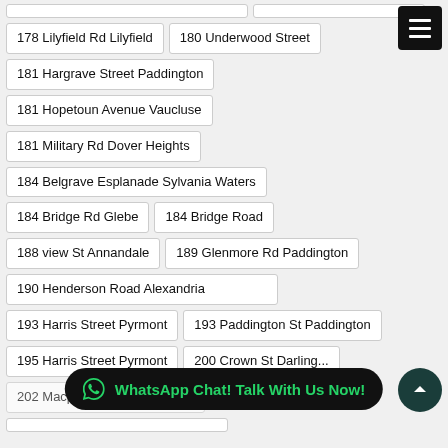178 Lilyfield Rd Lilyfield
180 Underwood Street
181 Hargrave Street Paddington
181 Hopetoun Avenue Vaucluse
181 Military Rd Dover Heights
184 Belgrave Esplanade Sylvania Waters
184 Bridge Rd Glebe
184 Bridge Road
188 view St Annandale
189 Glenmore Rd Paddington
190 Henderson Road Alexandria
193 Harris Street Pyrmont
193 Paddington St Paddington
195 Harris Street Pyrmont
200 Crown St Darling...
202 Macpherson Street Bronte